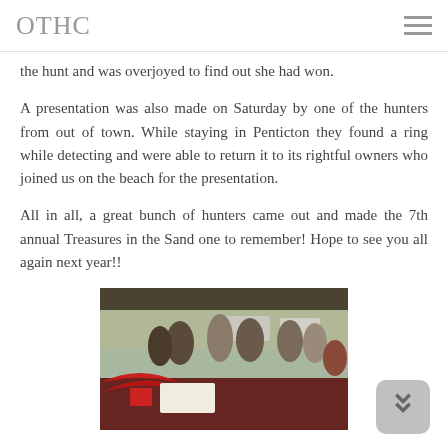OTHC
the hunt and was overjoyed to find out she had won.
A presentation was also made on Saturday by one of the hunters from out of town. While staying in Penticton they found a ring while detecting and were able to return it to its rightful owners who joined us on the beach for the presentation.
All in all, a great bunch of hunters came out and made the 7th annual Treasures in the Sand one to remember! Hope to see you all again next year!!
[Figure (photo): Outdoor event photo showing people gathered under a tent or canopy at what appears to be a beach or outdoor event, with red and black decorations visible in the foreground and cars in the background.]